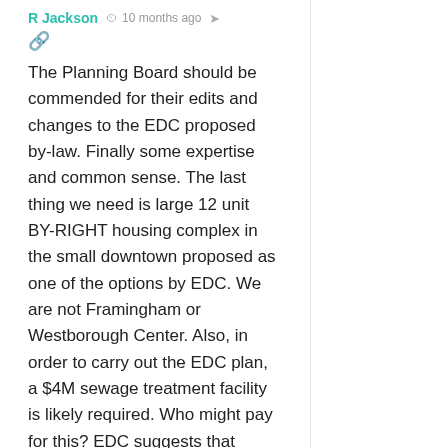R Jackson  10 months ago
The Planning Board should be commended for their edits and changes to the EDC proposed by-law. Finally some expertise and common sense. The last thing we need is large 12 unit BY-RIGHT housing complex in the small downtown proposed as one of the options by EDC. We are not Framingham or Westborough Center. Also, in order to carry out the EDC plan, a $4M sewage treatment facility is likely required. Who might pay for this? EDC suggests that “someone” (as in a developer) might come along and foot the